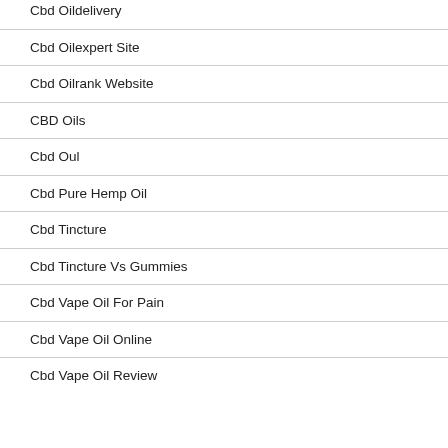Cbd Oildelivery
Cbd Oilexpert Site
Cbd Oilrank Website
CBD Oils
Cbd Oul
Cbd Pure Hemp Oil
Cbd Tincture
Cbd Tincture Vs Gummies
Cbd Vape Oil For Pain
Cbd Vape Oil Online
Cbd Vape Oil Review